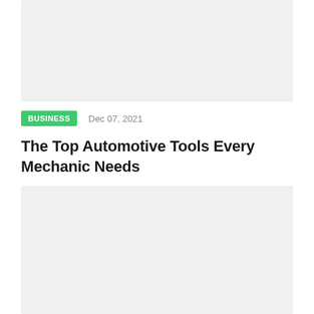[Figure (photo): Top image placeholder — light gray rectangle]
BUSINESS   Dec 07, 2021
The Top Automotive Tools Every Mechanic Needs
[Figure (photo): Bottom image placeholder — light gray rectangle]